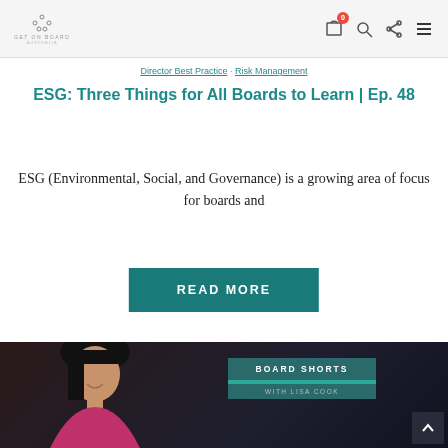Get On Board Australia — navigation header with logo, cart (0), search, share, and menu icons
Director Best Practice · Risk Management
ESG: Three Things for All Boards to Learn | Ep. 48
ESG (Environmental, Social, and Governance) is a growing area of focus for boards and
READ MORE
[Figure (photo): Photo of a woman with dark hair wearing a pink top, against a dark urban background, with a 'BOARD SHORTS WITH LISA COOK' overlay badge]